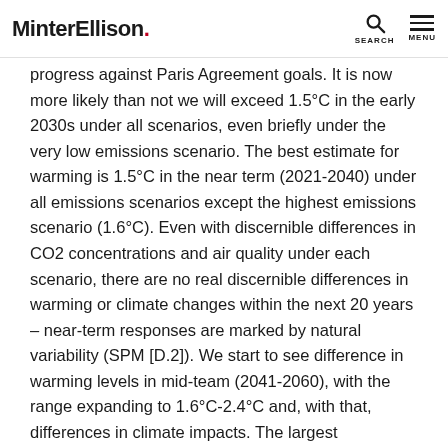MinterEllison. SEARCH MENU
progress against Paris Agreement goals. It is now more likely than not we will exceed 1.5°C in the early 2030s under all scenarios, even briefly under the very low emissions scenario. The best estimate for warming is 1.5°C in the near term (2021-2040) under all emissions scenarios except the highest emissions scenario (1.6°C). Even with discernible differences in CO2 concentrations and air quality under each scenario, there are no real discernible differences in warming or climate changes within the next 20 years – near-term responses are marked by natural variability (SPM [D.2]). We start to see difference in warming levels in mid-team (2041-2060), with the range expanding to 1.6°C-2.4°C and, with that, differences in climate impacts. The largest